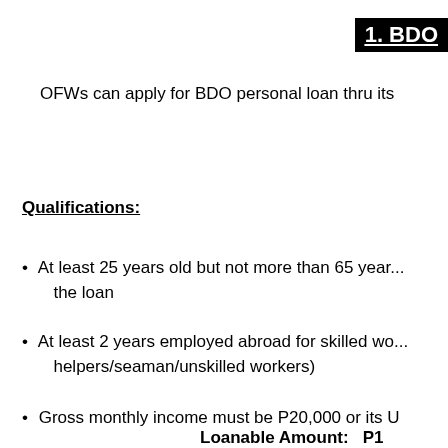1. BDO
OFWs can apply for BDO personal loan thru its
Qualifications:
At least 25 years old but not more than 65 years old at the time of maturity of the loan
At least 2 years employed abroad for skilled workers (3 years for household helpers/seaman/unskilled workers)
Gross monthly income must be P20,000 or its USD equivalent
Loanable Amount: P1